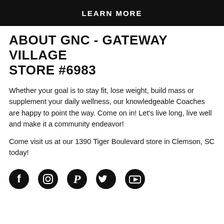LEARN MORE
ABOUT GNC - GATEWAY VILLAGE STORE #6983
Whether your goal is to stay fit, lose weight, build mass or supplement your daily wellness, our knowledgeable Coaches are happy to point the way. Come on in! Let's live long, live well and make it a community endeavor!
Come visit us at our 1390 Tiger Boulevard store in Clemson, SC today!
[Figure (illustration): Row of five circular social media icons (Facebook, Instagram, Pinterest, Twitter, YouTube) in black with white symbols]